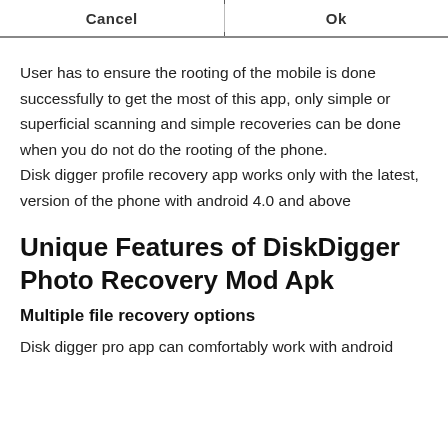[Figure (screenshot): Top portion of a dialog or app UI showing two buttons: 'Cancel' on the left and 'Ok' on the right, separated by a vertical divider, on a dark gray background.]
User has to ensure the rooting of the mobile is done successfully to get the most of this app, only simple or superficial scanning and simple recoveries can be done when you do not do the rooting of the phone. Disk digger profile recovery app works only with the latest, version of the phone with android 4.0 and above
Unique Features of DiskDigger Photo Recovery Mod Apk
Multiple file recovery options
Disk digger pro app can comfortably work with android